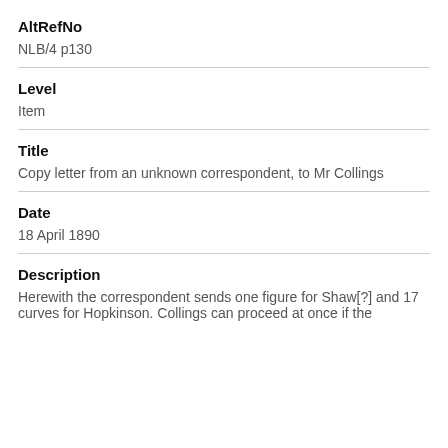AltRefNo
NLB/4 p130
Level
Item
Title
Copy letter from an unknown correspondent, to Mr Collings
Date
18 April 1890
Description
Herewith the correspondent sends one figure for Shaw[?] and 17 curves for Hopkinson. Collings can proceed at once if the